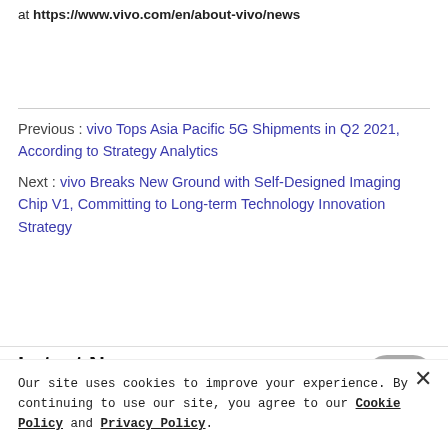at https://www.vivo.com/en/about-vivo/news
Previous : vivo Tops Asia Pacific 5G Shipments in Q2 2021, According to Strategy Analytics
Next : vivo Breaks New Ground with Self-Designed Imaging Chip V1, Committing to Long-term Technology Innovation Strategy
Latest News
Our site uses cookies to improve your experience. By continuing to use our site, you agree to our Cookie Policy and Privacy Policy.